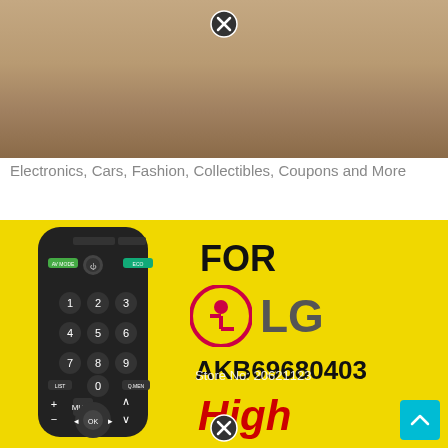[Figure (photo): Wooden surface/table background photo with a close icon overlay at top center]
Electronics, Cars, Fashion, Collectibles, Coupons and More
[Figure (photo): Product listing image on yellow background showing an LG TV remote control (AKB69680403) with FOR LG branding, LG logo, store number 20621123, and 'High Quali...' text in red. A scroll-up button is visible at bottom right.]